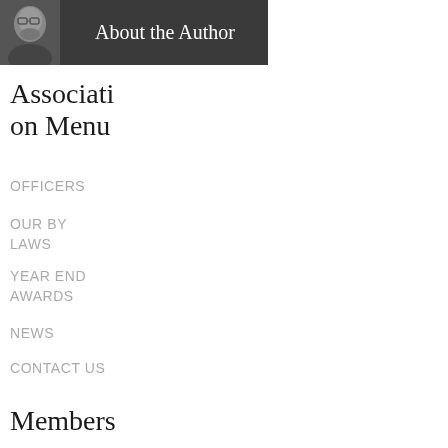[Figure (photo): Author photo banner with dark gray background showing a man with glasses and beard, with text 'About the Author']
Association Menu
OFFICERS
OUR BY LAWS
YEAR END AWARDS
NEWS
CONTACT US
Members